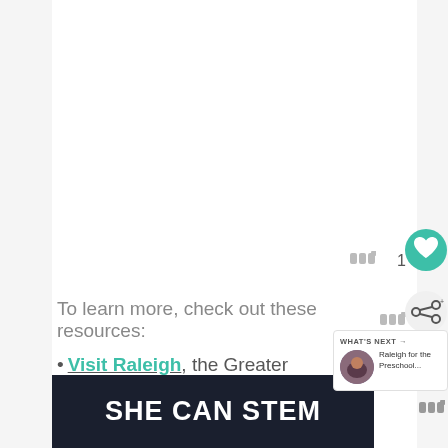To learn more, check out these resources:
•Visit Raleigh, the Greater Raleigh CVB.
[Figure (other): WHAT'S NEXT panel with thumbnail image and text 'Raleigh for the Preschool...']
[Figure (other): SHE CAN STEM advertisement banner on dark background]